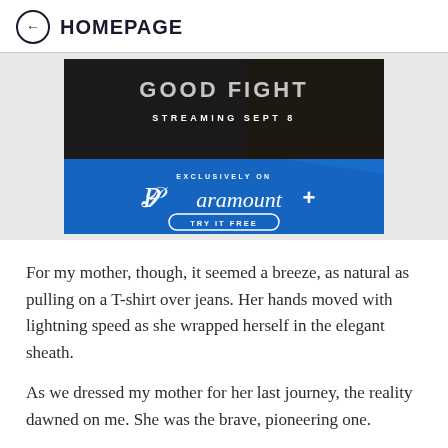← HOMEPAGE
[Figure (screenshot): Paramount+ streaming advertisement banner. Top half shows dark background with text 'GOOD FIGHT' and 'STREAMING SEPT 8' with a person with braided hair. Bottom half is bright blue with Paramount+ logo, 'EXCLUSIVELY ON', and 'TRY IT FREE' button.]
For my mother, though, it seemed a breeze, as natural as pulling on a T-shirt over jeans. Her hands moved with lightning speed as she wrapped herself in the elegant sheath.
As we dressed my mother for her last journey, the reality dawned on me. She was the brave, pioneering one.